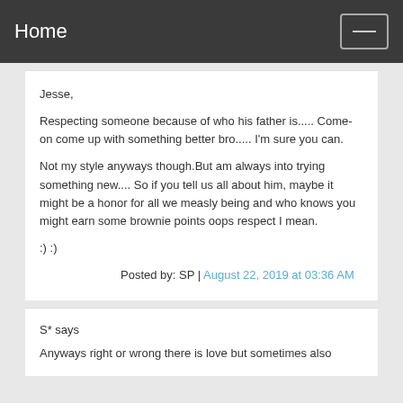Home
Jesse,
Respecting someone because of who his father is..... Come-on come up with something better bro..... I'm sure you can.
Not my style anyways though.But am always into trying something new.... So if you tell us all about him, maybe it might be a honor for all we measly being and who knows you might earn some brownie points oops respect I mean.
:) :)
Posted by: SP | August 22, 2019 at 03:36 AM
S* says
Anyways right or wrong there is love but sometimes also